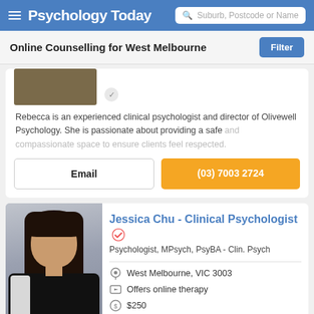Psychology Today — Suburb, Postcode or Name search
Online Counselling for West Melbourne
Rebecca is an experienced clinical psychologist and director of Olivewell Psychology. She is passionate about providing a safe and compassionate space to ensure clients feel respected.
Email | (03) 7003 2724
Jessica Chu - Clinical Psychologist
Psychologist, MPsych, PsyBA - Clin. Psych
West Melbourne, VIC 3003
Offers online therapy
$250